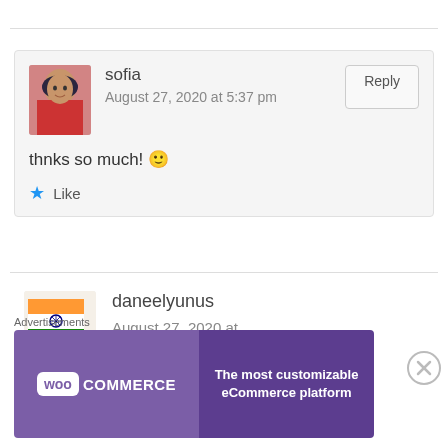sofia
August 27, 2020 at 5:37 pm
thnks so much! 🙂
★ Like
daneelyunus
August 27, 2020 at 5:38 pm
[Figure (other): WooCommerce advertisement banner: 'The most customizable eCommerce platform']